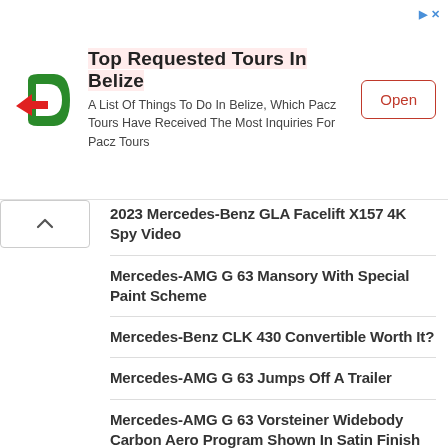[Figure (infographic): Advertisement banner for Pacz Tours Belize with logo, title 'Top Requested Tours In Belize', description text, and Open button]
2023 Mercedes-Benz GLA Facelift X157 4K Spy Video
Mercedes-AMG G 63 Mansory With Special Paint Scheme
Mercedes-Benz CLK 430 Convertible Worth It?
Mercedes-AMG G 63 Jumps Off A Trailer
Mercedes-AMG G 63 Vorsteiner Widebody Carbon Aero Program Shown In Satin Finish
2023 Mercedes-AMG GT Black Series Heading To Monterey To Find Itself A New Home